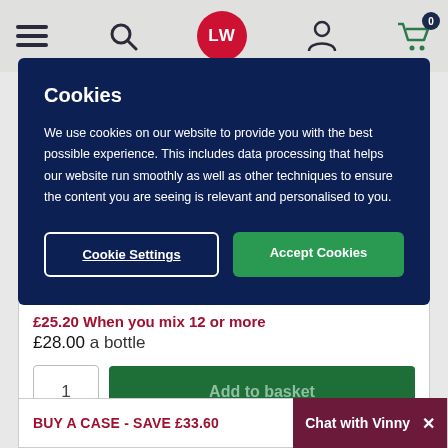LW (logo) — navigation header with menu, search, account, cart (0)
Cookies
We use cookies on our website to provide you with the best possible experience. This includes data processing that helps our website run smoothly as well as other techniques to ensure the content you are seeing is relevant and personalised to you.
Cookie Settings | Accept Cookies
£25.20 When you mix 12 or more
£28.00 a bottle
1  Add to basket
BUY A CASE - SAVE £33.60
Chat with Vinny  X